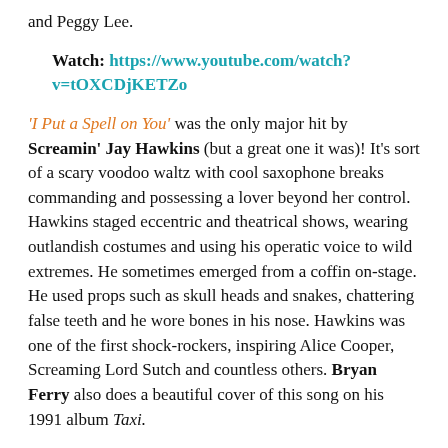and Peggy Lee.
Watch: https://www.youtube.com/watch?v=tOXCDjKETZo
'I Put a Spell on You' was the only major hit by Screamin' Jay Hawkins (but a great one it was)! It's sort of a scary voodoo waltz with cool saxophone breaks commanding and possessing a lover beyond her control. Hawkins staged eccentric and theatrical shows, wearing outlandish costumes and using his operatic voice to wild extremes. He sometimes emerged from a coffin on-stage. He used props such as skull heads and snakes, chattering false teeth and he wore bones in his nose. Hawkins was one of the first shock-rockers, inspiring Alice Cooper, Screaming Lord Sutch and countless others. Bryan Ferry also does a beautiful cover of this song on his 1991 album Taxi.